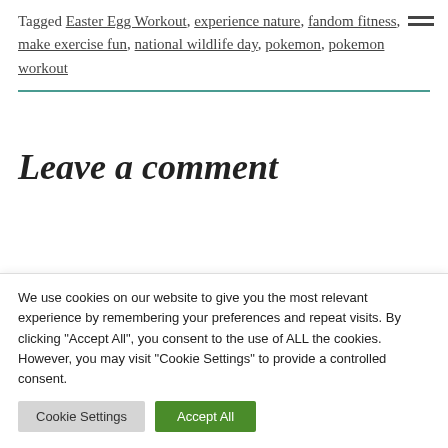Tagged Easter Egg Workout, experience nature, fandom fitness, make exercise fun, national wildlife day, pokemon, pokemon workout
Leave a comment
We use cookies on our website to give you the most relevant experience by remembering your preferences and repeat visits. By clicking "Accept All", you consent to the use of ALL the cookies. However, you may visit "Cookie Settings" to provide a controlled consent.